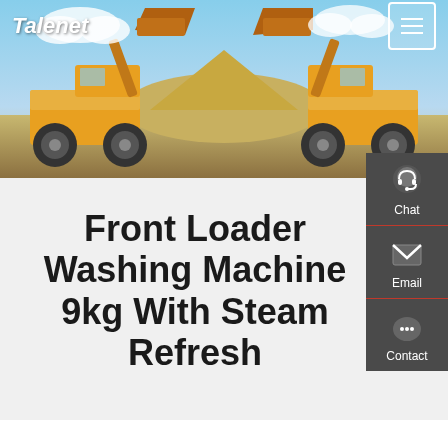[Figure (photo): Two yellow front loader construction machines facing each other with raised buckets, against a blue sky with sand/dirt mound in background]
Talenet
Front Loader Washing Machine 9kg With Steam Refresh
[Figure (infographic): Sidebar panel with Chat, Email, and Contact icons on dark gray background]